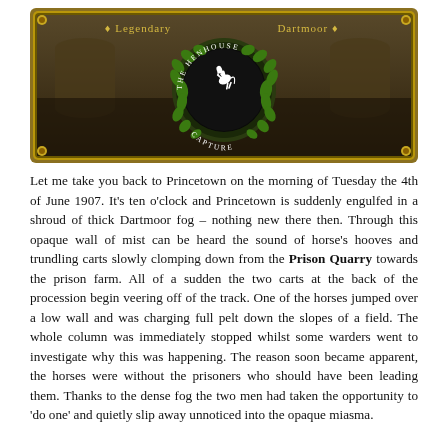[Figure (illustration): Decorative banner header for 'The Henhouse Capture' with an ornate gold border, sepia-toned background image of a crowd and archways, text '♦ Legendary' on the left and 'Dartmoor ♦' on the right, and a central circular emblem featuring a white rearing horse on a dark background surrounded by a green laurel wreath with 'THE HENHOUSE CAPTURE' text around the circle.]
Let me take you back to Princetown on the morning of Tuesday the 4th of June 1907. It's ten o'clock and Princetown is suddenly engulfed in a shroud of thick Dartmoor fog – nothing new there then. Through this opaque wall of mist can be heard the sound of horse's hooves and trundling carts slowly clomping down from the Prison Quarry towards the prison farm. All of a sudden the two carts at the back of the procession begin veering off of the track. One of the horses jumped over a low wall and was charging full pelt down the slopes of a field. The whole column was immediately stopped whilst some warders went to investigate why this was happening. The reason soon became apparent, the horses were without the prisoners who should have been leading them. Thanks to the dense fog the two men had taken the opportunity to 'do one' and quietly slip away unnoticed into the opaque miasma.